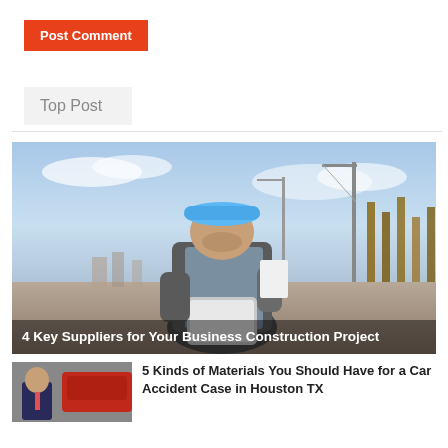Post Comment
Top Post
[Figure (photo): Construction worker in blue hard hat looking at a tablet at a construction site with cranes and steel beams in the background. Text overlay reads: 4 Key Suppliers for Your Business Construction Project]
4 Key Suppliers for Your Business Construction Project
[Figure (photo): Man in a suit near a red vehicle, partial view]
5 Kinds of Materials You Should Have for a Car Accident Case in Houston TX